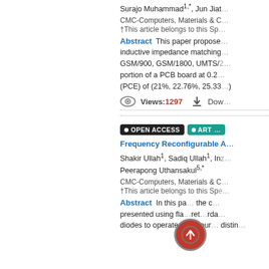Surajo Muhammad1,*, Jun Jia...
CMC-Computers, Materials & C...
†This article belongs to this Sp...
Abstract This paper propose... inductive impedance matching... GSM/900, GSM/1800, UMTS/2... portion of a PCB board at 0.2... (PCE) of (21%, 22.76%, 25.33...
Views:1297   Dow...
OPEN ACCESS
ART...
Frequency Reconfigurable A...
Shakir Ullah1, Sadiq Ullah1, In... Peerapong Uthansakul5,*
CMC-Computers, Materials & C...
†This article belongs to this Sp...
Abstract In this pa... the c... presented using fla... ret... rda... diodes to operate in r... our... distin... Fre... Fr... tl... nt... FF... Th...